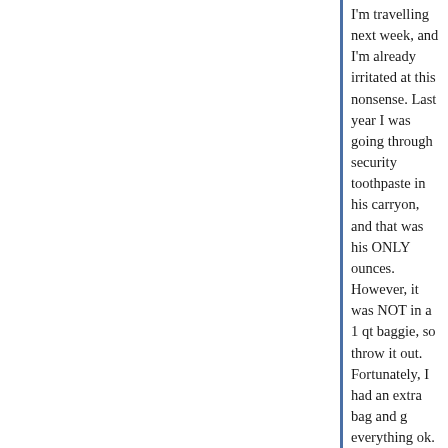I'm travelling next week, and I'm already irritated at this nonsense. Last year I was going through security toothpaste in his carryon, and that was his ONLY ounces. However, it was NOT in a 1 qt baggie, so throw it out. Fortunately, I had an extra bag and g everything ok. What kind of garbage security is th is bogus to begin with.
Posted by: farmgirl | February 15, 2008 at 03:12 PM
farmgirl - hear hear. And the whole world seems t based on recent travels. In Hong Kong, my wife a U.S. where we had purchased a couple of waterb flight. After getting off the plane in HK we went thr the bottles were discovered and thrown out. Just
And we are at a permanent "orange" level of secu
Posted by: Ugh | February 15, 2008 at 03:20 PM
Thirded.
Except, as far as I know, there's no evidence that